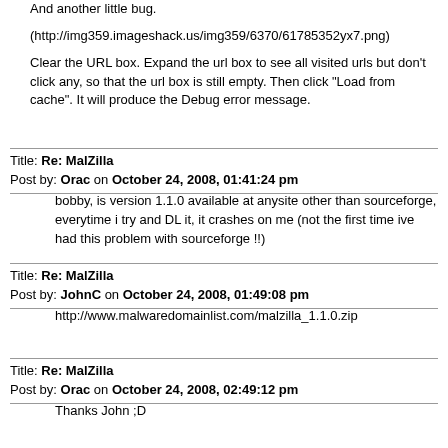And another little bug.
(http://img359.imageshack.us/img359/6370/61785352yx7.png)
Clear the URL box. Expand the url box to see all visited urls but don't click any, so that the url box is still empty. Then click "Load from cache". It will produce the Debug error message.
Title: Re: MalZilla
Post by: Orac on October 24, 2008, 01:41:24 pm
bobby, is version 1.1.0 available at anysite other than sourceforge, everytime i try and DL it, it crashes on me (not the first time ive had this problem with sourceforge !!)
Title: Re: MalZilla
Post by: JohnC on October 24, 2008, 01:49:08 pm
http://www.malwaredomainlist.com/malzilla_1.1.0.zip
Title: Re: MalZilla
Post by: Orac on October 24, 2008, 02:49:12 pm
Thanks John  ;D